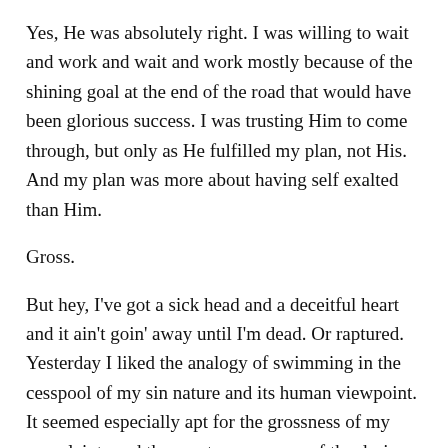Yes, He was absolutely right. I was willing to wait and work and wait and work mostly because of the shining goal at the end of the road that would have been glorious success. I was trusting Him to come through, but only as He fulfilled my plan, not His. And my plan was more about having self exalted than Him.
Gross.
But hey, I've got a sick head and a deceitful heart and it ain't goin' away until I'm dead. Or raptured. Yesterday I liked the analogy of swimming in the cesspool of my sin nature and its human viewpoint. It seemed especially apt for the grossness of my complaints and the greater grossness of the desires of my flesh that sometimes get the best of me. Pastor would probably say “welcome to the human race.” We all want to elevate ourselves in some way when it comes to the flesh. The best looking, the best writer, the best runner, the best